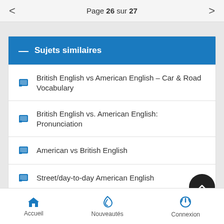Page 26 sur 27
Sujets similaires
British English vs American English – Car & Road Vocabulary
British English vs. American English: Pronunciation
American vs British English
Street/day-to-day American English
Funny Pics / Funny Stories
Accueil  Nouveautés  Connexion